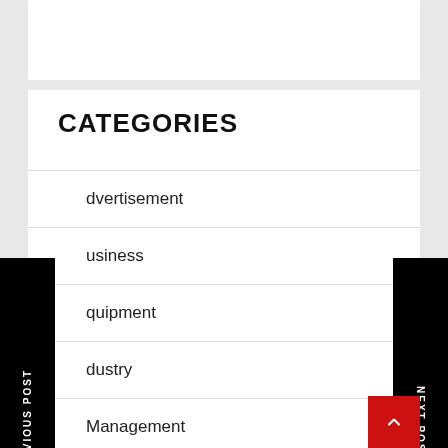CATEGORIES
Advertisement
Business
Equipment
Industry
Management
Marketing